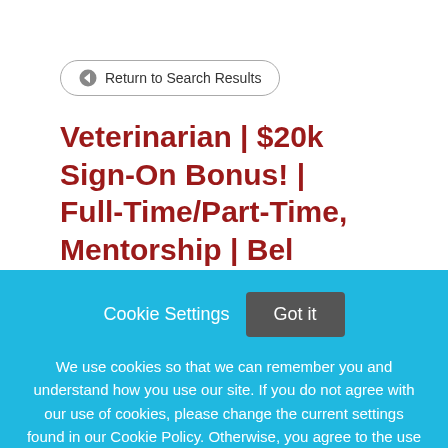Return to Search Results
Veterinarian | $20k Sign-On Bonus! | Full-Time/Part-Time, Mentorship | Bel Air, MD
Cookie Settings
Got it
We use cookies so that we can remember you and understand how you use our site. If you do not agree with our use of cookies, please change the current settings found in our Cookie Policy. Otherwise, you agree to the use of the cookies as they are currently set.